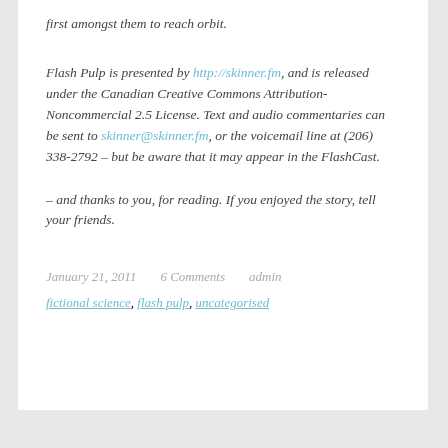first amongst them to reach orbit.
Flash Pulp is presented by http://skinner.fm, and is released under the Canadian Creative Commons Attribution-Noncommercial 2.5 License. Text and audio commentaries can be sent to skinner@skinner.fm, or the voicemail line at (206) 338-2792 – but be aware that it may appear in the FlashCast.
– and thanks to you, for reading. If you enjoyed the story, tell your friends.
January 21, 2011   6 Comments   admin   fictional science, flash pulp, uncategorised